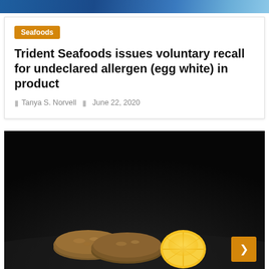Seafoods
Trident Seafoods issues voluntary recall for undeclared allergen (egg white) in product
Tanya S. Norvell  |  June 22, 2020
[Figure (photo): Dark background food photo showing breaded seafood patties on a plate with a halved lemon garnish]